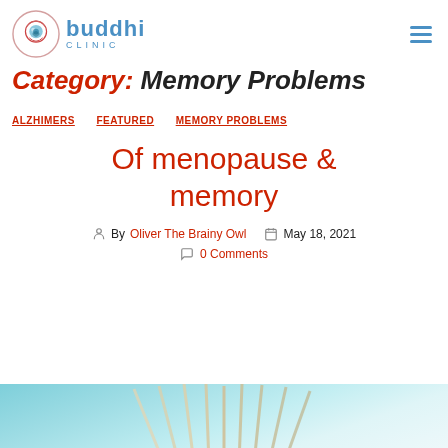buddhi CLINIC
Category: Memory Problems
ALZHIMERS · FEATURED · MEMORY PROBLEMS
Of menopause & memory
By Oliver The Brainy Owl  May 18, 2021  0 Comments
[Figure (photo): Teal/light blue background with book pages fanned open at bottom of image]